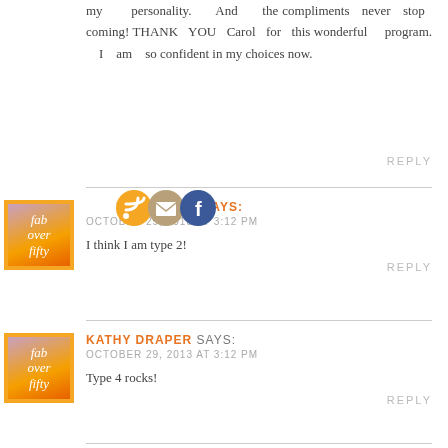my personality. And the compliments never stop coming! THANK YOU Carol for this wonderful program. I am so confident in my choices now.
REPLY
LISA SHARP says:
OCTOBER 29, 2013 AT 3:12 PM
I think I am type 2!
REPLY
KATHY DRAPER says:
OCTOBER 29, 2013 AT 3:12 PM
Type 4 rocks!
REPLY